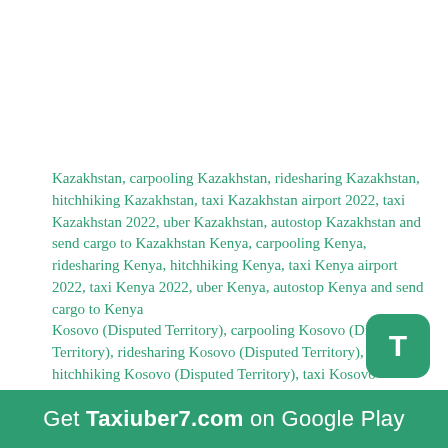Kazakhstan, carpooling Kazakhstan, ridesharing Kazakhstan, hitchhiking Kazakhstan, taxi Kazakhstan airport 2022, taxi Kazakhstan 2022, uber Kazakhstan, autostop Kazakhstan and send cargo to Kazakhstan Kenya, carpooling Kenya, ridesharing Kenya, hitchhiking Kenya, taxi Kenya airport 2022, taxi Kenya 2022, uber Kenya, autostop Kenya and send cargo to Kenya Kosovo (Disputed Territory), carpooling Kosovo (Disputed Territory), ridesharing Kosovo (Disputed Territory), hitchhiking Kosovo (Disputed Territory), taxi Kosovo (Disputed Territory) airport 2022, taxi Kosovo (Disputed Territory) 2022, uber Kosovo (Disputed Territory), autostop Kosovo (Disputed Territory) and send cargo to Kosovo (Disputed Territory) Kuwait, carpooling Kuwait, ridesharing Kuwait
Get Taxiuber7.com on Google Play